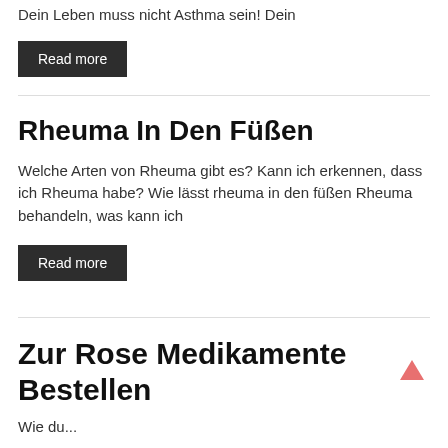Dein Leben muss nicht Asthma sein! Dein
Read more
Rheuma In Den Füßen
Welche Arten von Rheuma gibt es? Kann ich erkennen, dass ich Rheuma habe? Wie lässt rheuma in den füßen Rheuma behandeln, was kann ich
Read more
Zur Rose Medikamente Bestellen
Wie du...